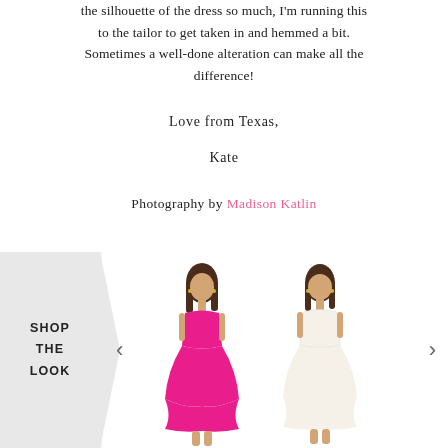the silhouette of the dress so much, I'm running this to the tailor to get taken in and hemmed a bit. Sometimes a well-done alteration can make all the difference!
Love from Texas,
Kate
Photography by Madison Katlin
[Figure (illustration): Shop the Look carousel section with two strapless mini dresses (one hot pink, one ivory/white) on models, with left and right navigation arrows and a chevron-shaped 'SHOP THE LOOK' label on a light grey background.]